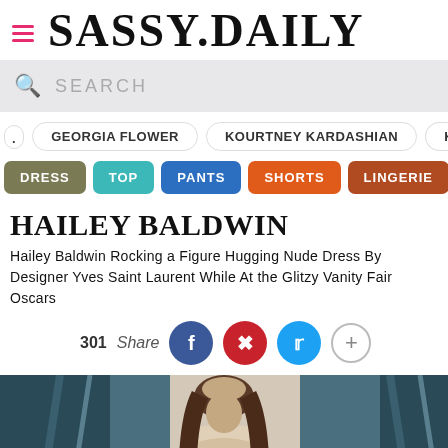SASSY.DAILY
SEARCH
GEORGIA FLOWER
KOURTNEY KARDASHIAN
KHLOE KA
DRESS
TOP
PANTS
SHORTS
LINGERIE
SWIM
HAILEY BALDWIN
Hailey Baldwin Rocking a Figure Hugging Nude Dress By Designer Yves Saint Laurent While At the Glitzy Vanity Fair Oscars
301 Share
[Figure (photo): Photo of Hailey Baldwin in a nude dress at the Vanity Fair Oscars party, with blue-teal draped fabric background]